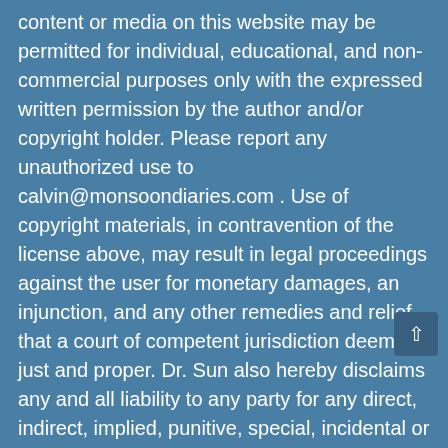content or media on this website may be permitted for individual, educational, and non-commercial purposes only with the expressed written permission by the author and/or copyright holder. Please report any unauthorized use to calvin@monsoondiaries.com . Use of copyright materials, in contravention of the license above, may result in legal proceedings against the user for monetary damages, an injunction, and any other remedies and relief that a court of competent jurisdiction deems just and proper. Dr. Sun also hereby disclaims any and all liability to any party for any direct, indirect, implied, punitive, special, incidental or other consequential damages arising directly or indirectly from any use of the Media Content, which is provided as is, and without warranties. Copyright Notice: Copyright © 2020 The Monsoon Diaries™, New York, NY USA, All Rights Reserved